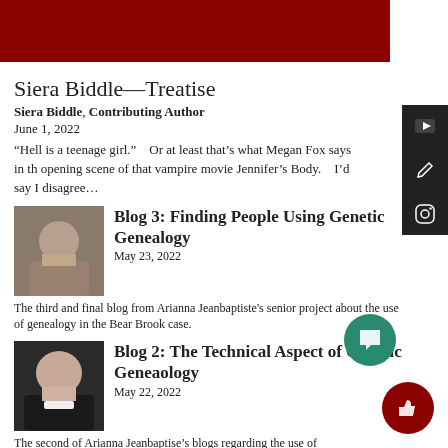[Figure (photo): Dark red banner image at top of page]
Siera Biddle—Treatise
Siera Biddle, Contributing Author
June 1, 2022
“Hell is a teenage girl.”   Or at least that’s what Megan Fox says in the opening scene of that vampire movie Jennifer’s Body.   I’d say I disagree…
[Figure (photo): Thumbnail photo of a man with mustache for Blog 3]
Blog 3: Finding People Using Genetic Genealogy
May 23, 2022
The third and final blog from Arianna Jeanbaptiste's senior project about the use of genealogy in the Bear Brook case.
[Figure (photo): Thumbnail photo of a woman for Blog 2]
Blog 2: The Technical Aspect of Genetic Geneaology
May 22, 2022
The second of Arianna Jeanbaptise’s blogs regarding the use of genealogy in the Bear Brook case.
[Figure (photo): Thumbnail photo for Blog 1]
Blog 1: The Bear Brook Case